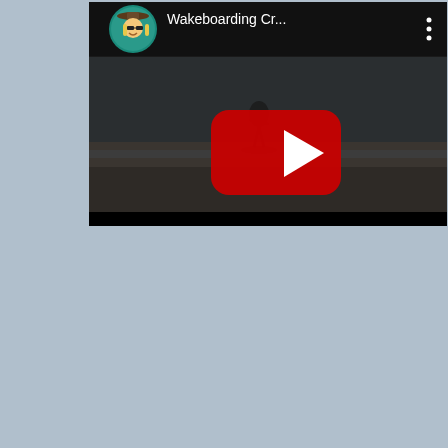[Figure (screenshot): A YouTube video embed showing a wakeboarding video titled 'Wakeboarding Cr...' with a channel avatar (cartoon figure with sombrero) in the top left, a three-dot menu icon in the top right, and a large red YouTube play button overlaid on a dark video frame showing a person wakeboarding on water.]